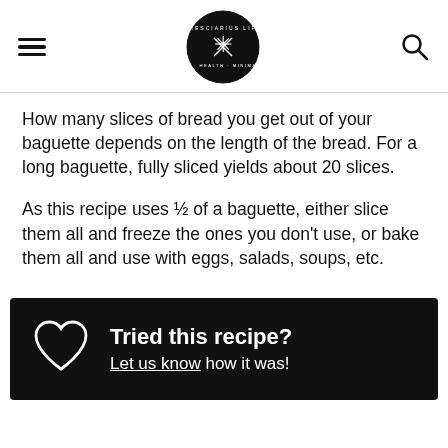[hamburger menu] [Presciarius Life logo] [search icon]
How many slices of bread you get out of your baguette depends on the length of the bread. For a long baguette, fully sliced yields about 20 slices.
As this recipe uses ½ of a baguette, either slice them all and freeze the ones you don't use, or bake them all and use with eggs, salads, soups, etc.
Tried this recipe? Let us know how it was!